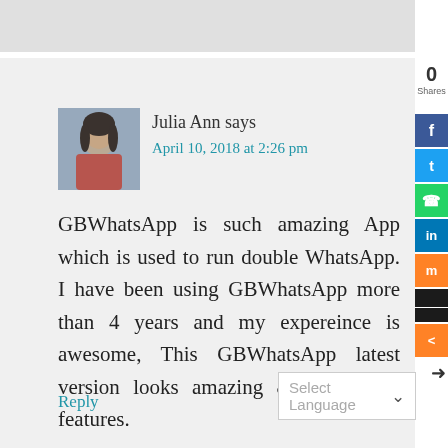[Figure (photo): User avatar photo of Julia Ann — woman in red top]
Julia Ann says
April 10, 2018 at 2:26 pm
GBWhatsApp is such amazing App which is used to run double WhatsApp. I have been using GBWhatsApp more than 4 years and my expereince is awesome, This GBWhatsApp latest version looks amazing & with more features.
Reply
Select Language